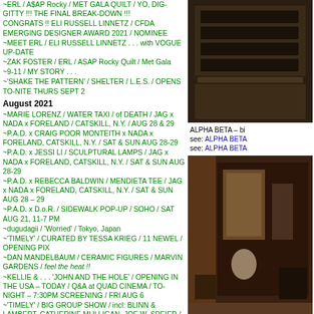~ERL / A$AP Rocky / MET GALA QUILT / YO, DIG-GITTY !!! THE FINAL BREAK-DOWN !!!
CONGRATS !! ELI RUSSELL LINNETZ / CFDA EMERGING DESIGNER AWARD 2021 / NOMINEE
~MEET ERL / ELI RUSSELL LINNETZ . . . with VOGUE UPDATE
~ZAK FOSTER / ERL / ASAP Rocky Quilt / Met Gala
~9-11 / MY STORY . . .
~'SHAKE THE PATTERN' / SHELTER / L.E.S. / OPENS TO-NITE THURS SEPT 2
August 2021
~MARIE LORENZ / WATER TAXI / of DEATH / JAG x NADA x FORELAND / CATSKILL, N.Y. / AUG 28 & 29
~P.A.D. x CRAIG POOR MONTEITH x NADA x FORELAND, CATSKILL, N.Y. / SAT & SUN AUG 28-29
~P.A.D. x JESSI LI / SCULPTURAL LAMPS / JAG x NADA x FORELAND, CATSKILL, N.Y. / SAT & SUN AUG 28-29
~P.A.D. x REBECCA BALDWIN / MENDIETA TEE / JAG x NADA x FORELAND, CATSKILL, N.Y. / SAT & SUN AUG 28 – 29
~P.A.D. x D.o.R. / SIDEWALK POP-UP / SOHO / SAT AUG 21, 11-7 PM
~dugudagii / 'Worried' / Tokyo, Japan
~'TIMELY' / CURATED BY TESSA KRIEG / 11 NEWEL / OPENING PIX
~DAN MANDELBAUM / CERAMIC FIGURES / MARVIN GARDENS / feel the heat !!
~KELLIE & . . . 'JOHN AND THE HOLE' / OPENING IN THE USA – TODAY / Q&A at QUAD CINEMA / TO-NIGHT – 7:30PM SCREENING / FRI AUG 6
~'TIMELY' / BIG GROUP SHOW / incl: BLINN & LAMBERT, CATHERINE MULLIGAN, JOE W. SPEIER / 11 NEWEL / OPENS FRI AUG 6
July 2021
~JONNY CAMPOLO, JEFFREY TRANCHELL, ORLANDO
[Figure (photo): Dark wooden furniture or dresser with drawers, top right of page]
ALPHA BETA – bi see: ALPHA BETA see: ALPHA BETA
[Figure (photo): Interior room with dark wooden furniture and decorative items, bottom right of page]